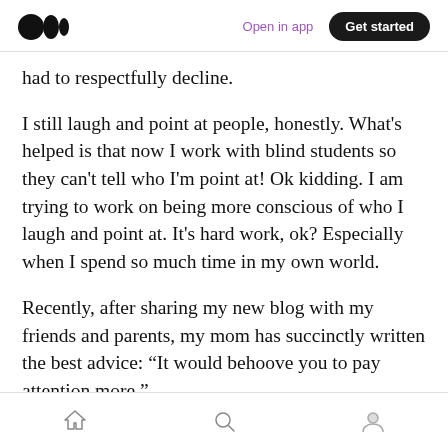Medium logo | Open in app | Get started
had to respectfully decline.
I still laugh and point at people, honestly. What's helped is that now I work with blind students so they can't tell who I'm point at! Ok kidding. I am trying to work on being more conscious of who I laugh and point at. It's hard work, ok? Especially when I spend so much time in my own world.
Recently, after sharing my new blog with my friends and parents, my mom has succinctly written the best advice: “It would behoove you to pay attention more.”
Home | Search | Profile